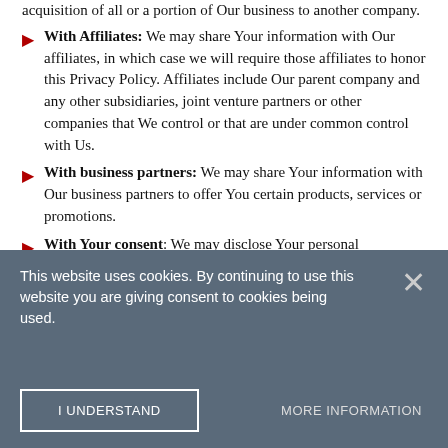acquisition of all or a portion of Our business to another company.
With Affiliates: We may share Your information with Our affiliates, in which case we will require those affiliates to honor this Privacy Policy. Affiliates include Our parent company and any other subsidiaries, joint venture partners or other companies that We control or that are under common control with Us.
With business partners: We may share Your information with Our business partners to offer You certain products, services or promotions.
With Your consent: We may disclose Your personal information for any other purpose with Your consent.
Retention of Your Personal Data
The Company will retain Your Personal Data only for as long as is
This website uses cookies. By continuing to use this website you are giving consent to cookies being used.